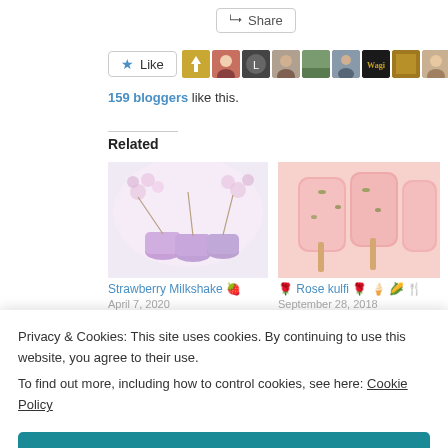[Figure (screenshot): Share button with icon]
[Figure (screenshot): Like button with star icon and row of blogger avatar thumbnails]
159 bloggers like this.
Related
[Figure (photo): Strawberry Milkshake photo showing pink drinks with flowers]
[Figure (photo): Rose kulfi photo showing pink ice cream bars]
Strawberry Milkshake 🍓
🌹 Rose kulfi 🌹 🍦 🌽 🍴
April 7, 2020
September 28, 2018
Privacy & Cookies: This site uses cookies. By continuing to use this website, you agree to their use.
To find out more, including how to control cookies, see here: Cookie Policy
Close and accept